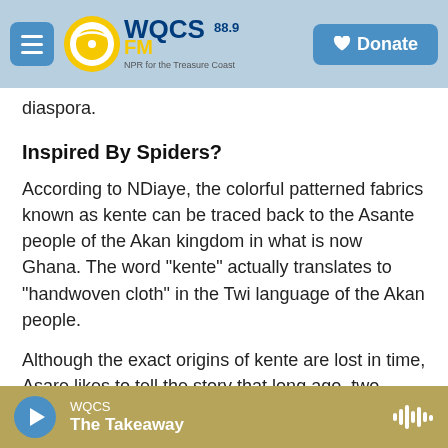WQCS 88.9 FM — NPR for the Treasure Coast | Donate
diaspora.
Inspired By Spiders?
According to NDiaye, the colorful patterned fabrics known as kente can be traced back to the Asante people of the Akan kingdom in what is now Ghana. The word "kente" actually translates to "handwoven cloth" in the Twi language of the Akan people.
Although the exact origins of kente are lost in time, Asare likes to tell the story that long ago, two hunters encountered a spider weaving its web in
WQCS — The Takeaway